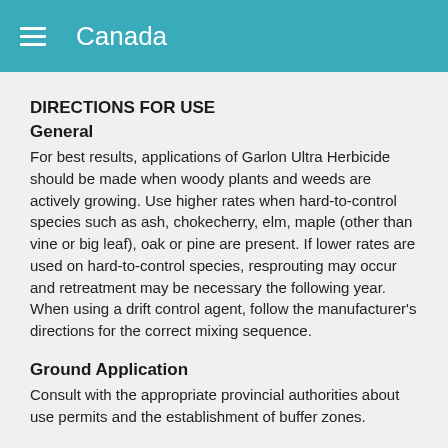Canada
DIRECTIONS FOR USE
General
For best results, applications of Garlon Ultra Herbicide should be made when woody plants and weeds are actively growing. Use higher rates when hard-to-control species such as ash, chokecherry, elm, maple (other than vine or big leaf), oak or pine are present. If lower rates are used on hard-to-control species, resprouting may occur and retreatment may be necessary the following year.
When using a drift control agent, follow the manufacturer's directions for the correct mixing sequence.
Ground Application
Consult with the appropriate provincial authorities about use permits and the establishment of buffer zones.
Use Precautions